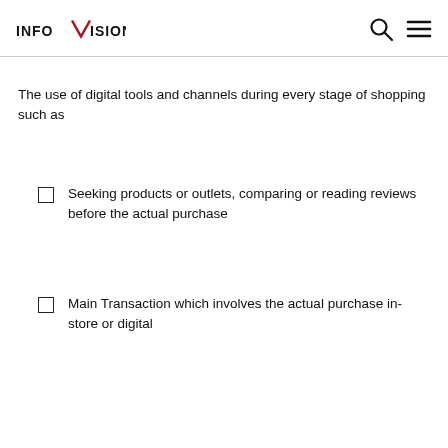INFOVISION
The use of digital tools and channels during every stage of shopping such as
Seeking products or outlets, comparing or reading reviews before the actual purchase
Main Transaction which involves the actual purchase in-store or digital